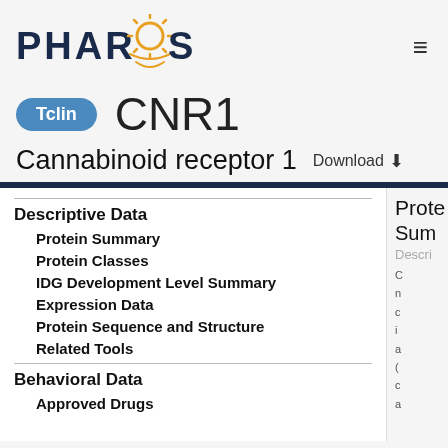PHAROS
CNR1
Tclin
Cannabinoid receptor 1  Download ⬇
Descriptive Data
Protein Summary
Protein Classes
IDG Development Level Summary
Expression Data
Protein Sequence and Structure
Related Tools
Behavioral Data
Approved Drugs
Prote
Sum
Descri